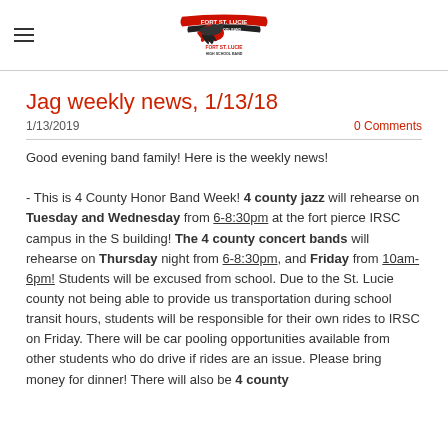Fort St. Lucie High School Band logo with hamburger menu
Jag weekly news, 1/13/18
1/13/2019
0 Comments
Good evening band family! Here is the weekly news!

- This is 4 County Honor Band Week! 4 county jazz will rehearse on Tuesday and Wednesday from 6-8:30pm at the fort pierce IRSC campus in the S building! The 4 county concert bands will rehearse on Thursday night from 6-8:30pm, and Friday from 10am-6pm! Students will be excused from school. Due to the St. Lucie county not being able to provide us transportation during school transit hours, students will be responsible for their own rides to IRSC on Friday. There will be car pooling opportunities available from other students who do drive if rides are an issue. Please bring money for dinner! There will also be 4 county